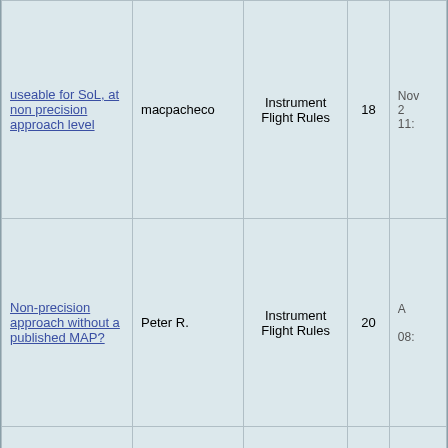| Thread | Author | Forum | Replies | Last Post |
| --- | --- | --- | --- | --- |
| useable for SoL, at non precision approach level | macpacheco | Instrument Flight Rules | 18 | Nov 2 11:... |
| Non-precision approach without a published MAP? | Peter R. | Instrument Flight Rules | 20 | A... 08:... |
| Completing the Non-precision approach as a Visual Approach | John Clonts | Instrument Flight Rules | 45 | Nov 2 05:... |
All times are GMT +1. The time now is 08:21 AM.
- Contact Us - AviationBanter forum home - FAQ - Links - Privacy Statement - Top
Powered by vBulletin® Version 3.6.4
Copyright ©2000 - 2022, Jelsoft Enterprises Ltd.
Copyright ©2004-2022 AviationBanter.
The comments are property of their posters.